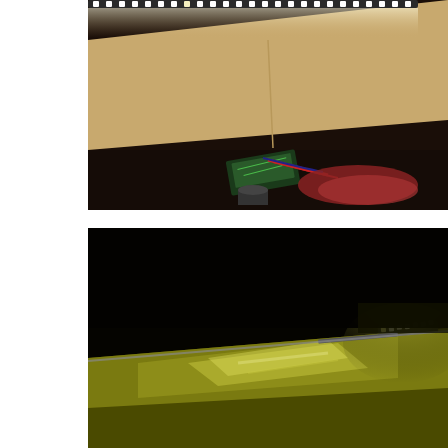[Figure (photo): A dark workshop scene showing a cardboard table/surface illuminated from above by an LED strip light mounted along the top edge. Below the table surface, electronic components (circuit boards with wires) and a red bag or fabric are visible on a dark floor.]
[Figure (photo): A dark nighttime scene showing an LED strip light casting a warm yellow-green glow on the top edge of a car hood or roof, with the background completely dark. The LED bar is visible on the right side with bright white LEDs.]